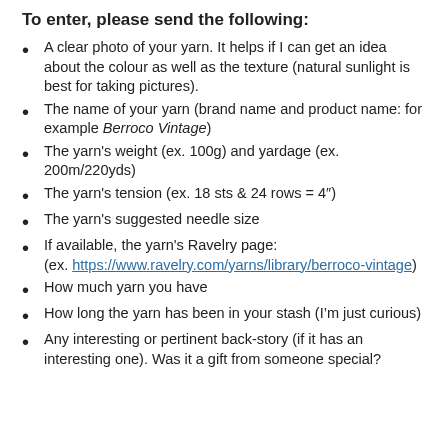To enter, please send the following:
A clear photo of your yarn. It helps if I can get an idea about the colour as well as the texture (natural sunlight is best for taking pictures).
The name of your yarn (brand name and product name: for example Berroco Vintage)
The yarn's weight (ex. 100g) and yardage (ex. 200m/220yds)
The yarn's tension (ex. 18 sts & 24 rows = 4")
The yarn's suggested needle size
If available, the yarn's Ravelry page: (ex. https://www.ravelry.com/yarns/library/berroco-vintage)
How much yarn you have
How long the yarn has been in your stash (I'm just curious)
Any interesting or pertinent back-story (if it has an interesting one). Was it a gift from someone special?